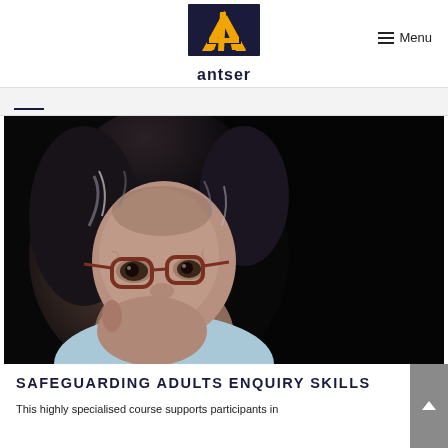antser | Menu
[Figure (logo): Antser logo: dark navy square with gold/yellow triangle (A shape with lightning bolt), text 'antser' below in dark navy]
Menu
[Figure (photo): Elderly woman with dark hair and glasses resting her chin on her hand, looking pensively at camera against a dark background, wearing a light blue top]
SAFEGUARDING ADULTS ENQUIRY SKILLS
This highly specialised course supports participants in